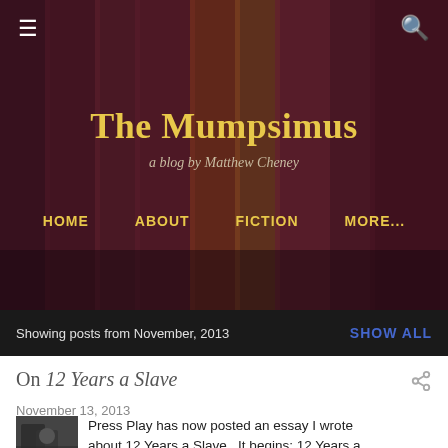The Mumpsimus — a blog by Matthew Cheney
The Mumpsimus
a blog by Matthew Cheney
HOME   ABOUT   FICTION   MORE...
Showing posts from November, 2013   SHOW ALL
On 12 Years a Slave
November 13, 2013
[Figure (photo): Thumbnail image for the post On 12 Years a Slave]
Press Play has now posted an essay I wrote about 12 Years a Slave . It begins: 12 Years a